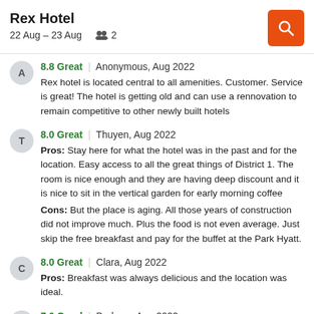Rex Hotel
22 Aug – 23 Aug   👥 2
8.8 Great | Anonymous, Aug 2022
Rex hotel is located central to all amenities. Customer. Service is great! The hotel is getting old and can use a rennovation to remain competitive to other newly built hotels
8.0 Great | Thuyen, Aug 2022
Pros: Stay here for what the hotel was in the past and for the location. Easy access to all the great things of District 1. The room is nice enough and they are having deep discount and it is nice to sit in the vertical garden for early morning coffee
Cons: But the place is aging. All those years of construction did not improve much. Plus the food is not even average. Just skip the free breakfast and pay for the buffet at the Park Hyatt.
8.0 Great | Clara, Aug 2022
Pros: Breakfast was always delicious and the location was ideal.
7.0 Good | Barbara, Aug 2022